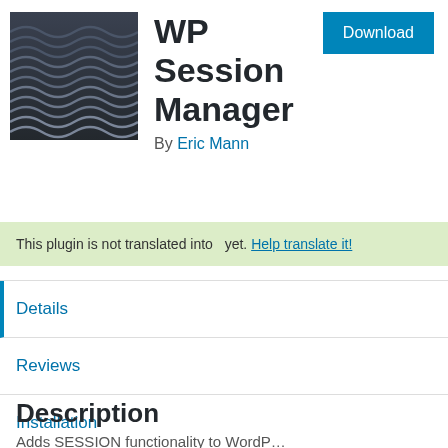[Figure (illustration): Plugin icon: dark slate colored wavy texture image]
WP Session Manager
By Eric Mann
Download
This plugin is not translated into yet. Help translate it!
Details
Reviews
Installation
Support
Development
Description
Adds SESSION functionality to WordP…